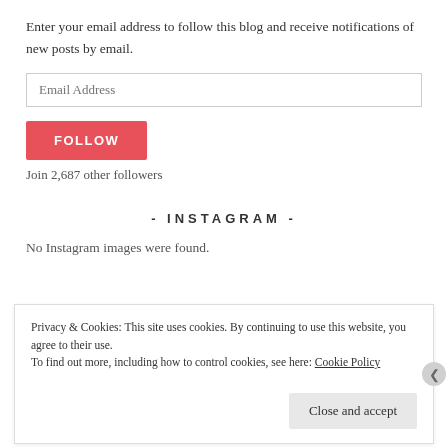Enter your email address to follow this blog and receive notifications of new posts by email.
Email Address
FOLLOW
Join 2,687 other followers
- INSTAGRAM -
No Instagram images were found.
Privacy & Cookies: This site uses cookies. By continuing to use this website, you agree to their use.
To find out more, including how to control cookies, see here: Cookie Policy
Close and accept